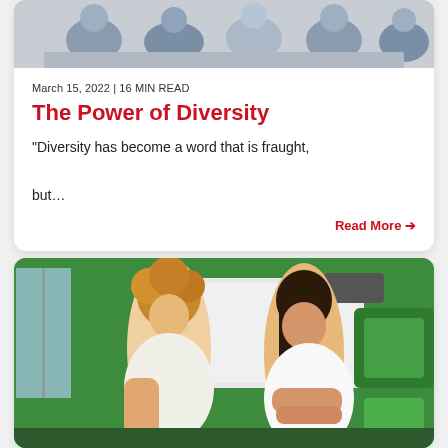[Figure (photo): Group of diverse people sitting together, partially visible at top of card]
March 15, 2022 | 16 MIN READ
The Power of Diversity
“Diversity has become a word that is fraught, but…
Read More →
[Figure (photo): A curly-haired woman with tattoos speaks to a young woman with dark hair in a green classroom with a whiteboard]